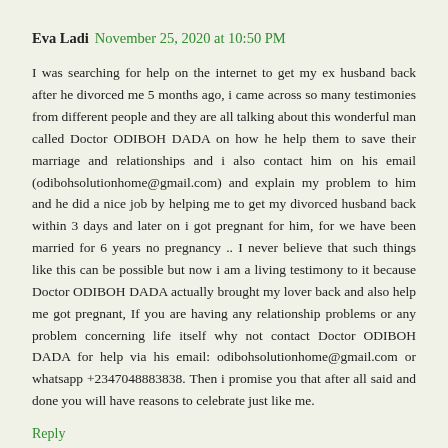Eva Ladi  November 25, 2020 at 10:50 PM
I was searching for help on the internet to get my ex husband back after he divorced me 5 months ago, i came across so many testimonies from different people and they are all talking about this wonderful man called Doctor ODIBOH DADA on how he help them to save their marriage and relationships and i also contact him on his email (odibohsolutionhome@gmail.com) and explain my problem to him and he did a nice job by helping me to get my divorced husband back within 3 days and later on i got pregnant for him, for we have been married for 6 years no pregnancy .. I never believe that such things like this can be possible but now i am a living testimony to it because Doctor ODIBOH DADA actually brought my lover back and also help me got pregnant, If you are having any relationship problems or any problem concerning life itself why not contact Doctor ODIBOH DADA for help via his email: odibohsolutionhome@gmail.com or whatsapp +2347048883838. Then i promise you that after all said and done you will have reasons to celebrate just like me.
Reply